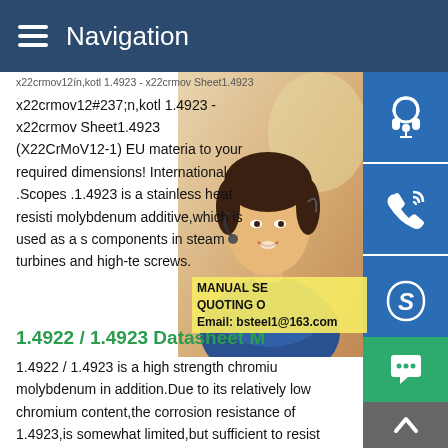Navigation
x22crmov12#237;n,kotl 1.4923 - x22crmov Sheet1.4923 (X22CrMoV12-1) EU material to your required dimensions! International .Scopes .1.4923 is a stainless heat resistant molybdenum additive,which is used as a s components in steam turbines and high-te screws.
1.4922 / 1.4923 Datasheet M
1.4922 / 1.4923 is a high strength chromium molybdenum in addition.Due to its relatively low chromium content,the corrosion resistance of 1.4923,is somewhat limited,but sufficient to resist corrosion in rural and urban atmospheres,provided no chlorides or salts are present.1.4922 1.4923 is resistant to steam.
MANUAL SE QUOTING O Email: bsteel1@163.com